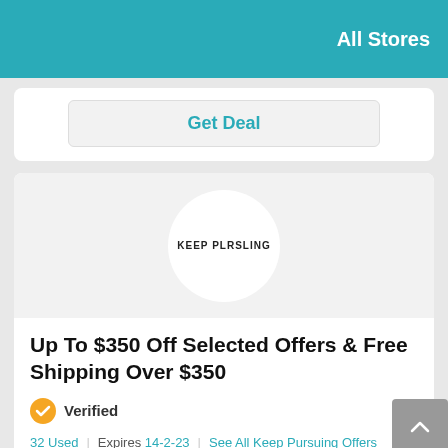All Stores
Get Deal
[Figure (logo): Keep Pursuing brand logo circle with text KEEP PLRSLING]
Up To $350 Off Selected Offers & Free Shipping Over $350
Verified
32 Used | Expires 14-2-23 | See All Keep Pursuing Offers
Get Deal